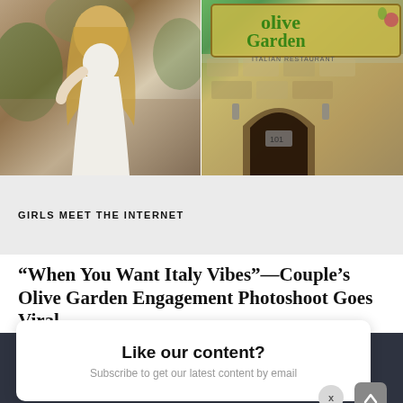[Figure (photo): Split image: left side shows a woman in a white dress (engagement photoshoot in a garden setting), right side shows an Olive Garden Italian Restaurant exterior sign with stone wall and arched entrance.]
GIRLS MEET THE INTERNET
“When You Want Italy Vibes”—Couple’s Olive Garden Engagement Photoshoot Goes Viral
Like our content?
Subscribe to get our latest content by email